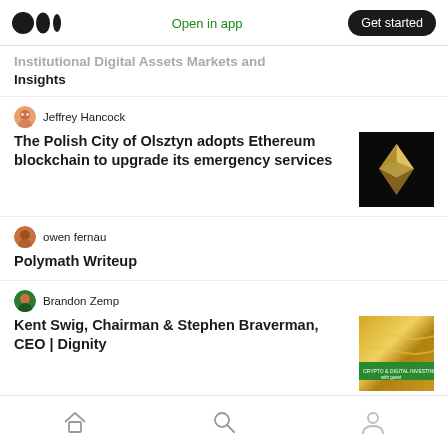Medium app header with logo, Open in app, Get started
Institutional Digital Assets Markets and Insights
Jeffrey Hancock
The Polish City of Olsztyn adopts Ethereum blockchain to upgrade its emergency services
owen fernau
Polymath Writeup
Brandon Zemp
Kent Swig, Chairman & Stephen Braverman, CEO | Dignity
Home, Search, Profile navigation icons